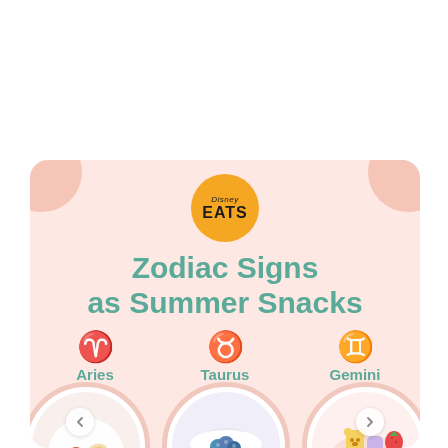[Figure (infographic): Disney Eats branded infographic card on pink background titled 'Zodiac Signs as Summer Snacks' showing three zodiac signs (Aries, Taurus, Gemini) with their symbols and circular food photos below each]
Zodiac Signs as Summer Snacks
Aries
Taurus
Gemini